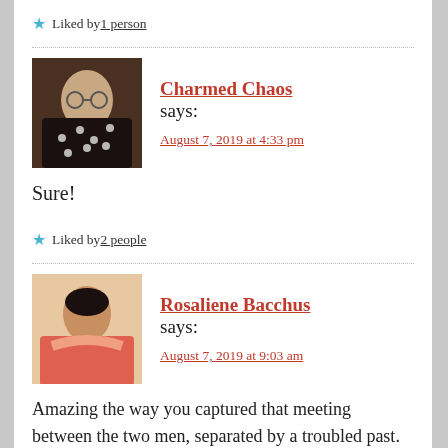★ Liked by 1 person
Charmed Chaos says:
August 7, 2019 at 4:33 pm
Sure!
★ Liked by 2 people
Rosaliene Bacchus says:
August 7, 2019 at 9:03 am
Amazing the way you captured that meeting between the two men, separated by a troubled past. There comes a time when we alone must face the